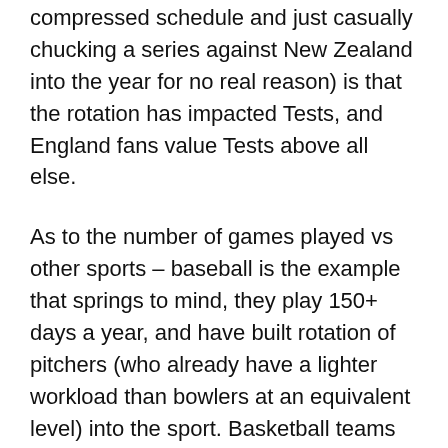compressed schedule and just casually chucking a series against New Zealand into the year for no real reason) is that the rotation has impacted Tests, and England fans value Tests above all else.
As to the number of games played vs other sports – baseball is the example that springs to mind, they play 150+ days a year, and have built rotation of pitchers (who already have a lighter workload than bowlers at an equivalent level) into the sport. Basketball teams also seem to play an inordinate number of games, I'm not sure how much rotation there is between games, but they have a lot of substitutions (as does Baseball, in it's own idiosyncratic way), and cricket seems deeply unwilling to introduce substitutions into the game,